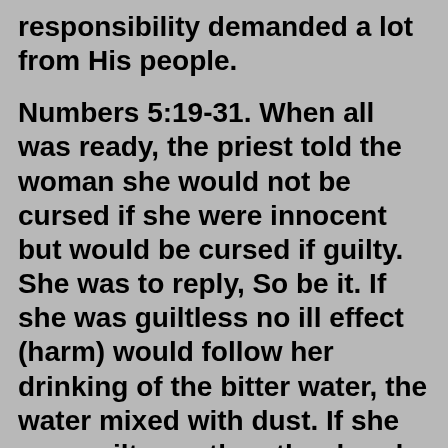responsibility demanded a lot from His people.
Numbers 5:19-31. When all was ready, the priest told the woman she would not be cursed if she were innocent but would be cursed if guilty. She was to reply, So be it. If she was guiltless no ill effect (harm) would follow her drinking of the bitter water, the water mixed with dust. If she was guilty, on the other hand, her guilt would be manifest by the wasting away of her thigh and the swelling of her abdomen. This curse clearly refers to some physical disorder which would render the woman sterile (vv. 27-28). After the woman had taken the oath (v. 22), the ink with which the curses were